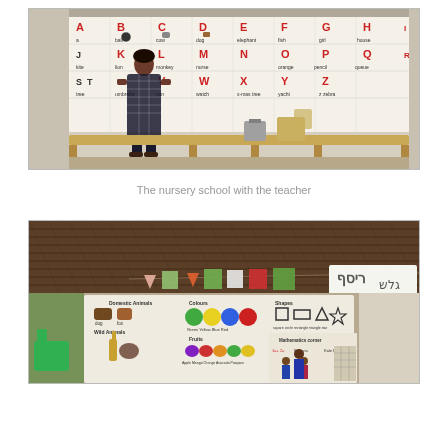[Figure (photo): A nursery school classroom with an alphabet chart covering the wall (A-Z with animal and object illustrations). A female teacher in a patterned dress stands in front of the wall. A wooden bench is in the foreground.]
The nursery school with the teacher
[Figure (photo): Interior of a nursery school classroom with a thatched roof. Colorful paper decorations hang from the rafters. Educational charts on the walls show domestic animals, wild animals, colours (green, yellow, blue, red), shapes, fruits, and mathematics corner content.]